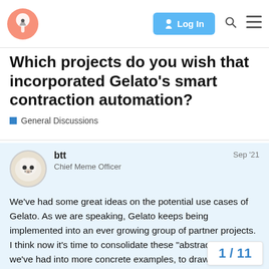Gelato forum header with logo, Log In button, search and menu icons
Which projects do you wish that incorporated Gelato’s smart contraction automation?
General Discussions
btt
Chief Meme Officer
Sep ’21
We’ve had some great ideas on the potential use cases of Gelato. As we are speaking, Gelato keeps being implemented into an ever growing group of partner projects. I think now it’s time to consolidate these “abstract” ideas we’ve had into more concrete examples, to draw an even clearer path where Gelato may further expand its footprint.
Since I assume that the majority of us hav various protocols and products, I propose
1 / 11